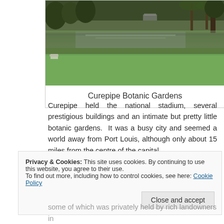[Figure (photo): Photograph of Curepipe Botanic Gardens showing a pond surrounded by green grass and trees]
Curepipe Botanic Gardens
Curepipe held the national stadium, several prestigious buildings and an intimate but pretty little botanic gardens.  It was a busy city and seemed a world away from Port Louis, although only about 15 miles from the centre of the capital.
Privacy & Cookies: This site uses cookies. By continuing to use this website, you agree to their use.
To find out more, including how to control cookies, see here: Cookie Policy
Close and accept
some of which was privately held by rich landowners in